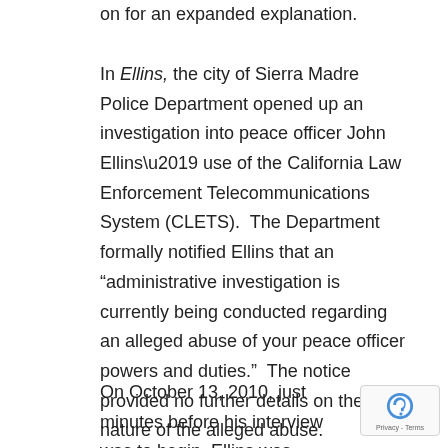on for an expanded explanation.
In Ellins, the city of Sierra Madre Police Department opened up an investigation into peace officer John Ellins’ use of the California Law Enforcement Telecommunications System (CLETS).  The Department formally notified Ellins that an “administrative investigation is currently being conducted regarding an alleged abuse of your peace officer powers and duties.”  The notice provided no further details on the nature of the alleged abuse.
On October 13, 2010, just minutes before his interview was to begin, Ellins was notified or...